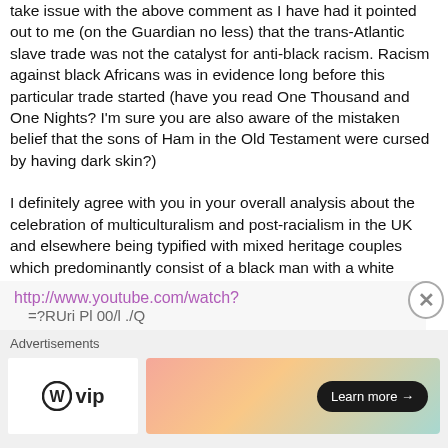take issue with the above comment as I have had it pointed out to me (on the Guardian no less) that the trans-Atlantic slave trade was not the catalyst for anti-black racism. Racism against black Africans was in evidence long before this particular trade started (have you read One Thousand and One Nights? I'm sure you are also aware of the mistaken belief that the sons of Ham in the Old Testament were cursed by having dark skin?)
I definitely agree with you in your overall analysis about the celebration of multiculturalism and post-racialism in the UK and elsewhere being typified with mixed heritage couples which predominantly consist of a black man with a white woman. More recent examples: Halifax:
http://www.youtube.com/watch?
=?RUri Pl 00/l ./Q
Advertisements
[Figure (logo): WordPress VIP logo — circular W icon followed by 'vip' text]
[Figure (illustration): Gradient advertisement banner with pastel orange/pink/teal gradient and a 'Learn more →' button in dark pill shape]